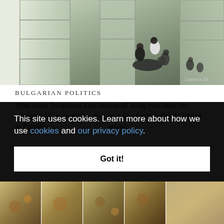[Figure (screenshot): Surveillance camera footage (Camera 03) showing people on a stone-floored area with large stone block walls. Several figures visible, some on the ground, others standing.]
BULGARIAN POLITICS
What many Bulgarians have known all along ever since the collapse of Communism – that the police force, formerly known as People's … became
This site uses cookies. Learn more about how we use cookies and our privacy policy.
Got it!
[Figure (photo): Bottom strip of four thumbnail images showing golden/brown-toned scenes, and one partial image on the right side.]